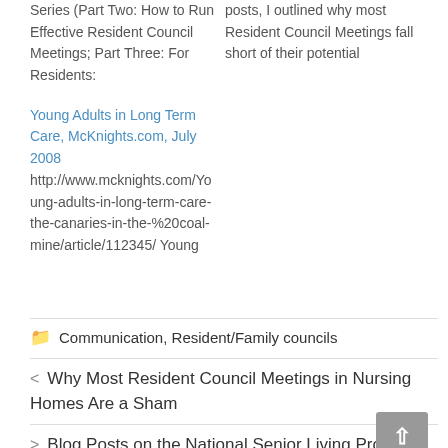Series (Part Two: How to Run Effective Resident Council Meetings; Part Three: For Residents:
posts, I outlined why most Resident Council Meetings fall short of their potential
Young Adults in Long Term Care, McKnights.com, July 2008
http://www.mcknights.com/Young-adults-in-long-term-care-the-canaries-in-the-%20coal-mine/article/112345/ Young
Communication, Resident/Family councils
< Why Most Resident Council Meetings in Nursing Homes Are a Sham
> Blog Posts on the National Senior Living Provider